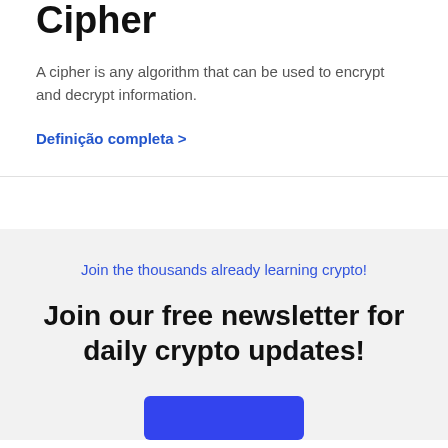Cipher
A cipher is any algorithm that can be used to encrypt and decrypt information.
Definição completa >
Join the thousands already learning crypto!
Join our free newsletter for daily crypto updates!